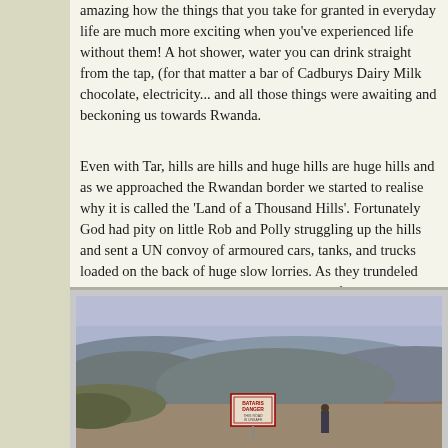amazing how the things that you take for granted in everyday life are much more exciting when you've experienced life without them! A hot shower, water you can drink straight from the tap, (for that matter a bar of Cadburys Dairy Milk chocolate, electricity... and all those things were awaiting and beckoning us towards Rwanda.
Even with Tar, hills are hills and huge hills are huge hills and as we approached the Rwandan border we started to realise why it is called the 'Land of a Thousand Hills'. Fortunately God had pity on little Rob and Polly struggling up the hills and sent a UN convoy of armoured cars, tanks, and trucks loaded on the back of huge slow lorries. As they trundeled past us we tried to grab hold, we missed the first couple but drivers soon saw what we were trying to do so graciously slowed down just enough so we could catch the rear bracket and then they were off again... with us attached!
[Figure (photo): Landscape photograph showing rolling hills in Rwanda with a warning sign (BATARIS DANGER) in the foreground and a person standing nearby. The scene shows the hilly terrain of Rwanda.]